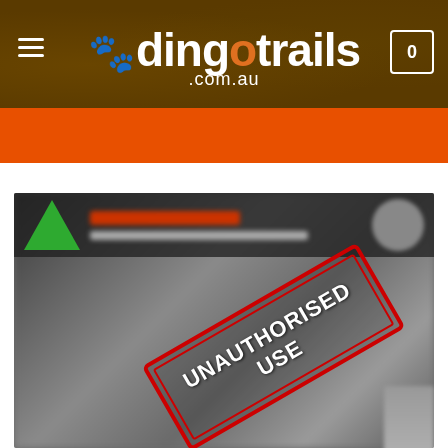dingotrails.com.au
[Figure (photo): A blurred product photo (metallic/foil bag) with an 'UNAUTHORISED USE' red stamp overlay diagonally across the image. The top portion shows a dark banner with a green triangle logo element and blurred red/grey text. The image is intentionally blurred/obscured.]